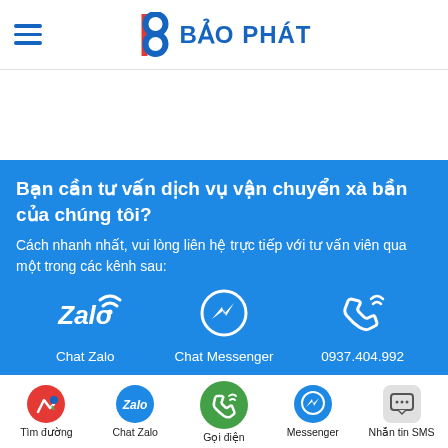BẢO PHÁT
Bạn cần tư vấn dịch vụ vận chuyển xà bần của chúng tôi?
Cách nhanh nhất, vui lòng liên hệ trực tiếp với tư vấn viên qua một trong các kênh sau:
[Figure (infographic): Three contact options: Chat Zalo, Chat Messenger, 0937.404.992]
[Figure (infographic): Bottom navigation bar with icons: Tìm đường, Chat Zalo, Gọi điện, Messenger, Nhắn tin SMS]